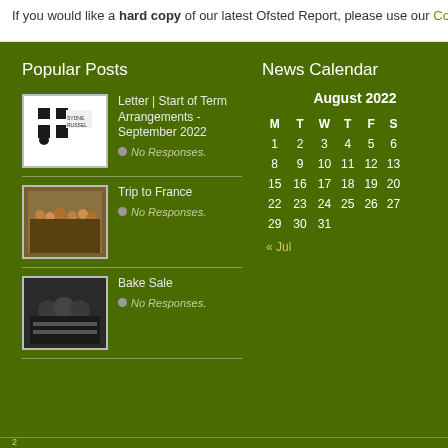If you would like a hard copy of our latest Ofsted Report, please use our Co
Popular Posts
Letter | Start of Term Arrangements - September 2022
No Responses.
Trip to France
No Responses.
Bake Sale
No Responses.
News Calendar
|  | M | T | W | T | F | S |
| --- | --- | --- | --- | --- | --- | --- |
| August 2022 |  |  |  |  |  |  |
|  | 1 | 2 | 3 | 4 | 5 | 6 |
|  | 8 | 9 | 10 | 11 | 12 | 13 |
|  | 15 | 16 | 17 | 18 | 19 | 20 |
|  | 22 | 23 | 24 | 25 | 26 | 27 |
|  | 29 | 30 | 31 |  |  |  |
« Jul
2